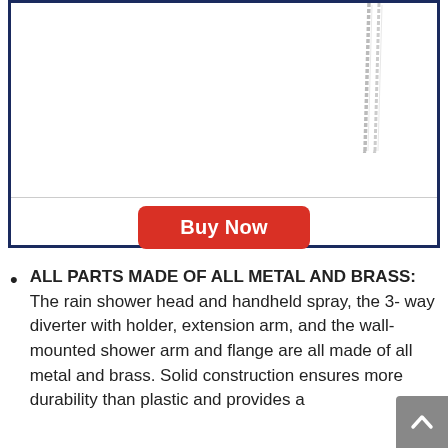[Figure (photo): Partial view of a metal shower head / handheld spray with hose, shown against white background inside a dark navy bordered product box]
Buy Now
ALL PARTS MADE OF ALL METAL AND BRASS: The rain shower head and handheld spray, the 3- way diverter with holder, extension arm, and the wall-mounted shower arm and flange are all made of all metal and brass. Solid construction ensures more durability than plastic and provides a